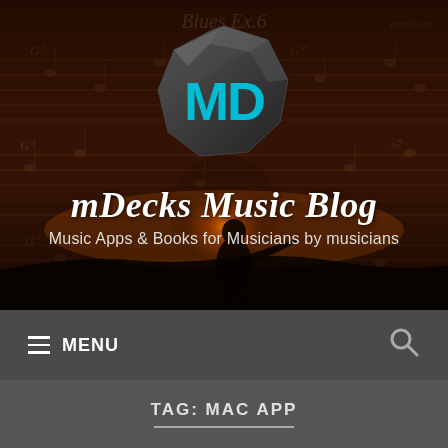[Figure (illustration): mDecks Music Blog website header banner with dark reddish-brown background, sheet music notation overlay, sunset silhouette of a person, and the MD polygon logo in teal/dark gray. Contains 'Blues Ex.6' text at top and site branding.]
mDecks Music Blog
Music Apps & Books for Musicians by musicians
≡ MENU
TAG: MAC APP